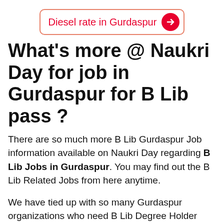[Figure (other): Clickable banner button with red border, text 'Diesel rate in Gurdaspur' in red with a red circular arrow button on the right]
What's more @ Naukri Day for job in Gurdaspur for B Lib pass ?
There are so much more B Lib Gurdaspur Job information available on Naukri Day regarding B Lib Jobs in Gurdaspur. You may find out the B Lib Related Jobs from here anytime.
We have tied up with so many Gurdaspur organizations who need B Lib Degree Holder Employees on frequent basis. Well you will be getting reputed B Lib Gurdaspur jobs for sure.